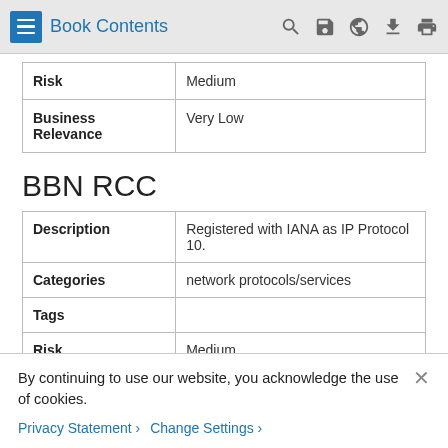Book Contents
| Risk | Business Relevance |
| --- | --- |
| Risk | Medium |
| Business Relevance | Very Low |
BBN RCC
| Description | Registered with IANA as IP Protocol 10. |
| Categories | network protocols/services |
| Tags |  |
| Risk | Medium |
| Business | Medium |
By continuing to use our website, you acknowledge the use of cookies.
Privacy Statement > Change Settings >